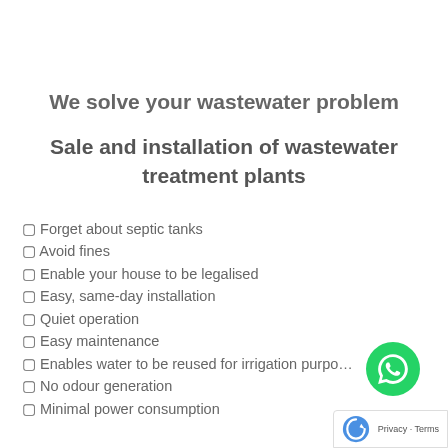We solve your wastewater problem
Sale and installation of wastewater treatment plants
🔲 Forget about septic tanks
🔲 Avoid fines
🔲 Enable your house to be legalised
🔲 Easy, same-day installation
🔲 Quiet operation
🔲 Easy maintenance
🔲 Enables water to be reused for irrigation purposes
🔲 No odour generation
🔲 Minimal power consumption